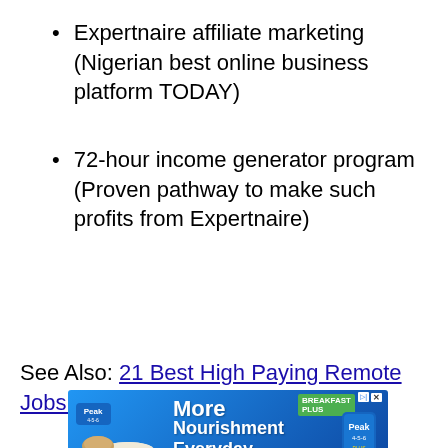Expertnaire affiliate marketing (Nigerian best online business platform TODAY)
72-hour income generator program (Proven pathway to make such profits from Expertnaire)
See Also: 21 Best High Paying Remote Jobs ($100k+)
[Figure (photo): Advertisement banner for Peak milk - 'More Nourishment Everyday' with Breakfast Plus Peak 4-5-6, Fortified with DHA Advantage. Shows food products and Peak milk carton.]